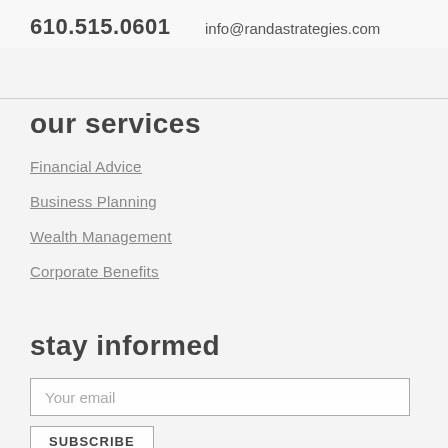610.515.0601
info@randastrategies.com
our services
Financial Advice
Business Planning
Wealth Management
Corporate Benefits
stay informed
Your email
SUBSCRIBE